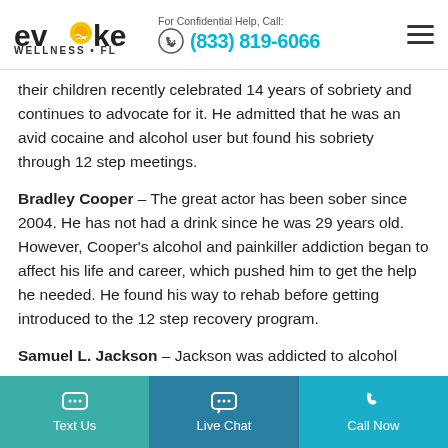Evoke Wellness FL — For Confidential Help, Call: (833) 819-6066
their children recently celebrated 14 years of sobriety and continues to advocate for it. He admitted that he was an avid cocaine and alcohol user but found his sobriety through 12 step meetings.
Bradley Cooper – The great actor has been sober since 2004. He has not had a drink since he was 29 years old. However, Cooper's alcohol and painkiller addiction began to affect his life and career, which pushed him to get the help he needed. He found his way to rehab before getting introduced to the 12 step recovery program.
Samuel L. Jackson – Jackson was addicted to alcohol
Text Us | Live Chat | Call Now